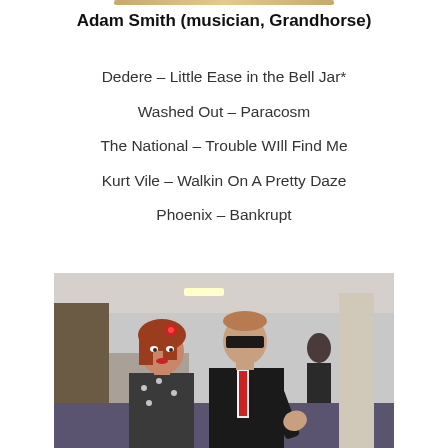Adam Smith (musician, Grandhorse)
Dedere – Little Ease in the Bell Jar*
Washed Out – Paracosm
The National – Trouble WIll Find Me
Kurt Vile – Walkin On A Pretty Daze
Phoenix – Bankrupt
[Figure (photo): Two people posing together in a room: a woman with red hair and a red flower hair accessory wearing a dark polka-dot top, and a man with sunglasses and a dark suit with a red tie, making an expressive gesture with his hand.]